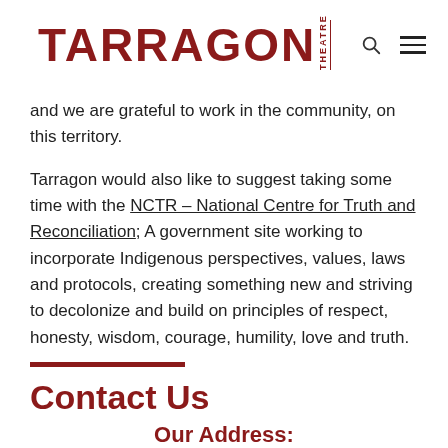TARRAGON THEATRE
and we are grateful to work in the community, on this territory.
Tarragon would also like to suggest taking some time with the NCTR – National Centre for Truth and Reconciliation; A government site working to incorporate Indigenous perspectives, values, laws and protocols, creating something new and striving to decolonize and build on principles of respect, honesty, wisdom, courage, humility, love and truth.
Contact Us
Our Address: